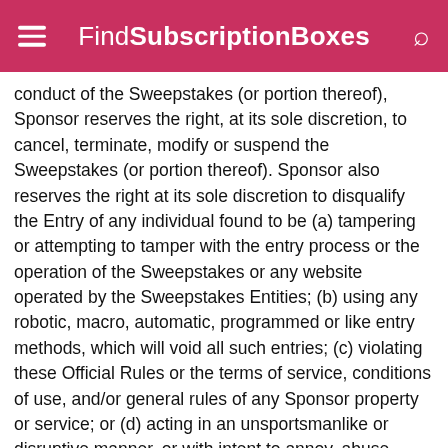FindSubscriptionBoxes
conduct of the Sweepstakes (or portion thereof), Sponsor reserves the right, at its sole discretion, to cancel, terminate, modify or suspend the Sweepstakes (or portion thereof). Sponsor also reserves the right at its sole discretion to disqualify the Entry of any individual found to be (a) tampering or attempting to tamper with the entry process or the operation of the Sweepstakes or any website operated by the Sweepstakes Entities; (b) using any robotic, macro, automatic, programmed or like entry methods, which will void all such entries; (c) violating these Official Rules or the terms of service, conditions of use, and/or general rules of any Sponsor property or service; or (d) acting in an unsportsmanlike or disruptive manner, or with intent to annoy, abuse, threaten, or harass any other person. Sweepstakes Entities are not responsible for claims, injuries, losses or damages of any kind resulting, in whole or in part, directly or indirectly, from the awarding